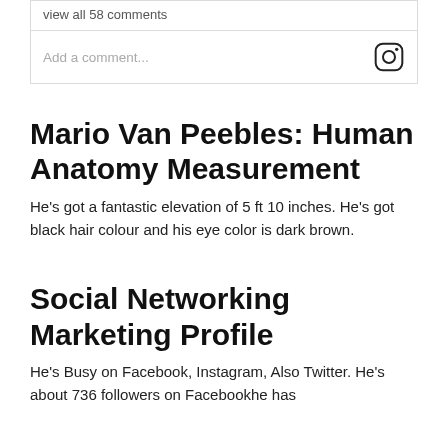view all 58 comments
Add a comment...
Mario Van Peebles: Human Anatomy Measurement
He's got a fantastic elevation of 5 ft 10 inches. He's got black hair colour and his eye color is dark brown.
Social Networking Marketing Profile
He's Busy on Facebook, Instagram, Also Twitter. He's about 736 followers on Facebookhe has